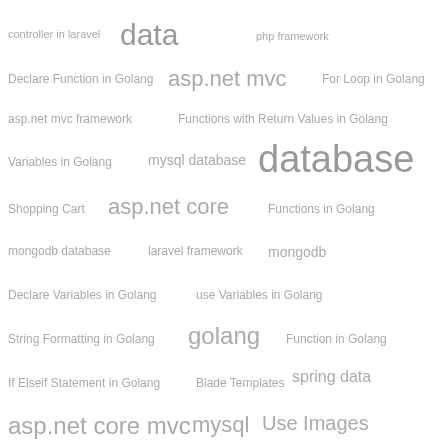[Figure (other): Tag cloud / word cloud showing programming and database related topics. Terms include: data, database, asp.net mvc, asp.net core, asp.net core mvc, golang, mysql, spring data, spring framework, php framework, controller in laravel, Declare Function in Golang, For Loop in Golang, asp.net mvc framework, Functions with Return Values in Golang, Variables in Golang, mysql database, Shopping Cart, Functions in Golang, mongodb database, laravel framework, mongodb, Declare Variables in Golang, use Variables in Golang, String Formatting in Golang, Function in Golang, If Elseif Statement in Golang, Blade Templates, If Elseif Statement in Golang, Use Images, hibernate 5, Declare Functions in Golang.]